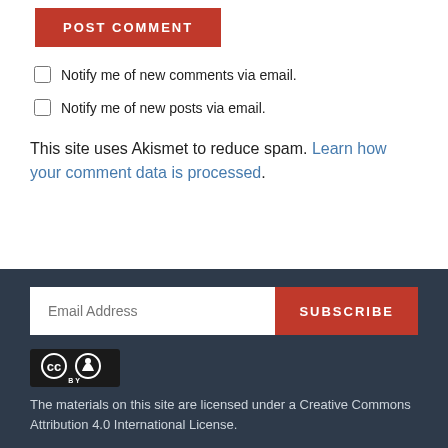POST COMMENT
Notify me of new comments via email.
Notify me of new posts via email.
This site uses Akismet to reduce spam. Learn how your comment data is processed.
Email Address
SUBSCRIBE
[Figure (logo): Creative Commons CC BY logo badge]
The materials on this site are licensed under a Creative Commons Attribution 4.0 International License.